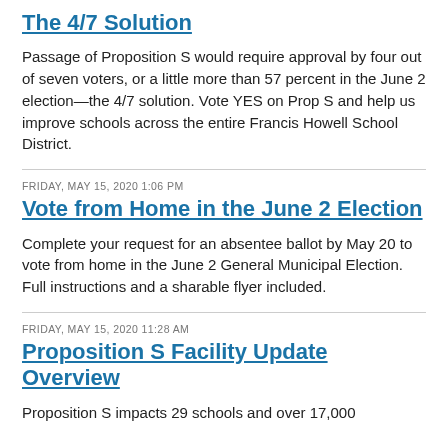The 4/7 Solution
Passage of Proposition S would require approval by four out of seven voters, or a little more than 57 percent in the June 2 election—the 4/7 solution. Vote YES on Prop S and help us improve schools across the entire Francis Howell School District.
FRIDAY, MAY 15, 2020 1:06 PM
Vote from Home in the June 2 Election
Complete your request for an absentee ballot by May 20 to vote from home in the June 2 General Municipal Election. Full instructions and a sharable flyer included.
FRIDAY, MAY 15, 2020 11:28 AM
Proposition S Facility Update Overview
Proposition S impacts 29 schools and over 17,000